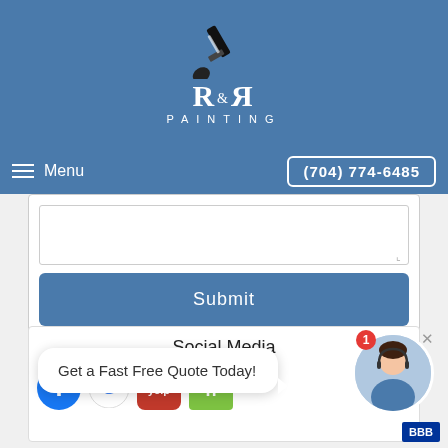[Figure (logo): R&R Painting company logo with paintbrush icon on blue header background]
Menu
(704) 774-6485
[Figure (screenshot): Web form textarea input field with resize handle]
Submit
Social Media
Get a Fast Free Quote Today!
[Figure (infographic): Social media icons: Facebook, Google, Yelp, Houzz, BBB]